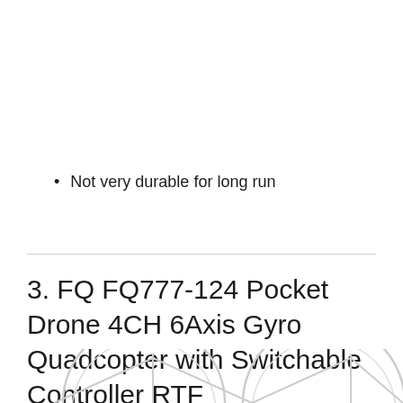Not very durable for long run
3. FQ FQ777-124 Pocket Drone 4CH 6Axis Gyro Quadcopter with Switchable Controller RTF
[Figure (photo): Partial view of drone rotors/propeller guards at the bottom of the page]